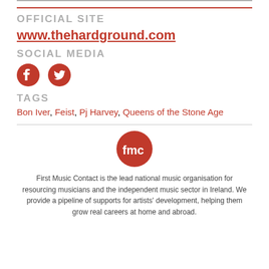OFFICIAL SITE
www.thehardground.com
SOCIAL MEDIA
[Figure (illustration): Facebook and Twitter social media icons in red]
TAGS
Bon Iver, Feist, Pj Harvey, Queens of the Stone Age
[Figure (logo): First Music Contact (FMC) logo - red circle with white FMC text]
First Music Contact is the lead national music organisation for resourcing musicians and the independent music sector in Ireland. We provide a pipeline of supports for artists' development, helping them grow real careers at home and abroad.